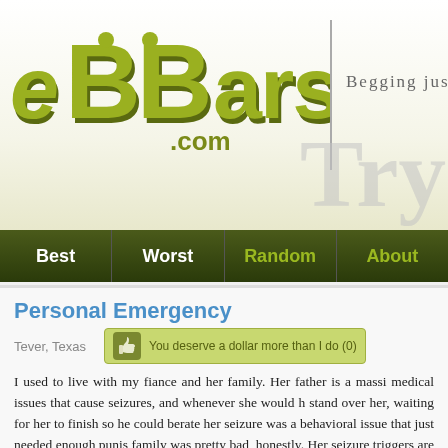[Figure (logo): eBeggars.com logo with olive green stylized lettering]
Begging just got ea
Try
Best | Worst | Random | About
Personal Emergency
Tever, Texas
You deserve a dollar more than I do (0)
I used to live with my fiance and her family. Her father is a massi medical issues that cause seizures, and whenever she would h stand over her, waiting for her to finish so he could berate her seizure was a behavioral issue that just needed enough punis family was pretty bad, honestly. Her seizure triggers are stress a whole house was a noisy, high stress environment. Whenever Ka it down a little, they would pile it on even worse. Anyway, on Tha